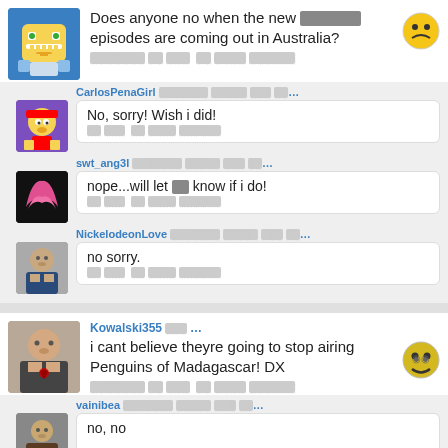[Figure (photo): SpongeBob avatar]
Does anyone no when the new ░░░░░░ episodes are coming out in Australia?
░░░░░░░ ░░ ░░░  ░░ ░░░░ ░░░░░░
[Figure (photo): Sad face emoji]
CarlosPenaGirl ░░░░░░░ ░░░░░ ░░░ ░░...
[Figure (photo): Lisa Simpson avatar]
No, sorry! Wish i did!
░░ ░░░  ░░ ░░░░ ░░░░░░
swt_ang3l ░░░░░░░ ░░░░░ ░░░ ░░...
[Figure (photo): Pink heart avatar]
nope...will let ░░ know if i do!
░░ ░░░  ░░ ░░░░ ░░░░░░
NickelodeonLove ░░░░░░░ ░░░░░ ░░░ ░░...
[Figure (photo): Man photo avatar]
no sorry.
░░ ░░░  ░░ ░░░░ ░░░░░░
[Figure (photo): Kowalski355 avatar]
Kowalski355 ░░░ ...
i cant believe theyre going to stop airing Penguins of Madagascar! DX
░░░░░░░ ░░ ░░░  ░░ ░░░░ ░░░░░░
[Figure (photo): DX crying emoji]
vainibea ░░░░░░░ ░░░░░ ░░░ ░░...
[Figure (photo): vainibea avatar]
no, no